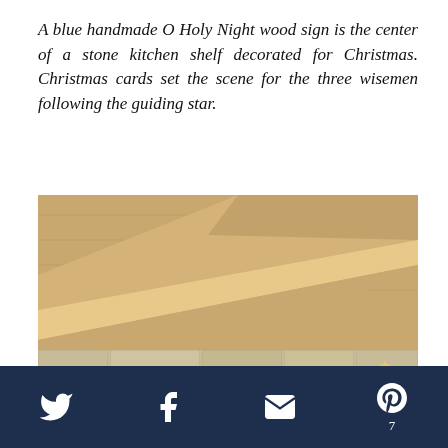A blue handmade O Holy Night wood sign is the center of a stone kitchen shelf decorated for Christmas. Christmas cards set the scene for the three wisemen following the guiding star.
[Figure (photo): Interior photo of a stone kitchen shelf decorated for Christmas, with wooden ceiling beams visible above. On the shelf: miniature Christmas trees, Christmas cards, an 'O Holy Night' round wooden sign, a star decoration, and framed photos/cards.]
Twitter  Facebook  Email  Pinterest  7